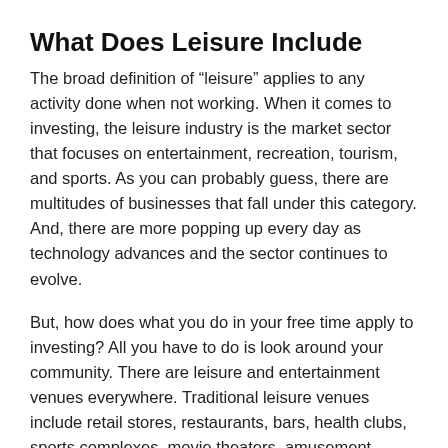What Does Leisure Include
The broad definition of “leisure” applies to any activity done when not working. When it comes to investing, the leisure industry is the market sector that focuses on entertainment, recreation, tourism, and sports. As you can probably guess, there are multitudes of businesses that fall under this category. And, there are more popping up every day as technology advances and the sector continues to evolve.
But, how does what you do in your free time apply to investing? All you have to do is look around your community. There are leisure and entertainment venues everywhere. Traditional leisure venues include retail stores, restaurants, bars, health clubs, sports complexes, movie theaters, amusement parks, casinos, and concert halls, just to name a few.